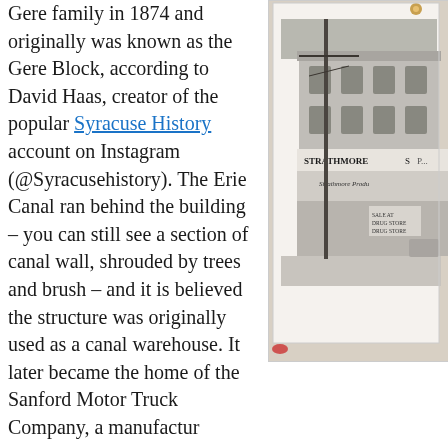Gere family in 1874 and originally was known as the Gere Block, according to David Haas, creator of the popular Syracuse History account on Instagram (@Syracusehistory). The Erie Canal ran behind the building – you can still see a section of canal wall, shrouded by trees and brush – and it is believed the structure was originally used as a canal warehouse. It later became the home of the Sanford Motor Truck Company, a manufactur... before eventually becoming the longtime headquarters of ... (1942-2018). Paint color samples and the occasional pain... seen inside the building.
[Figure (photo): Black and white photograph of a multi-story commercial building with signs reading 'STRATHMORE' and 'Strathmore Produ...' visible on the storefront. A utility pole is visible in front of the building.]
The building was sold in 2021 and the new owners plan to... mixed-use building with a variety of tenants, according to...